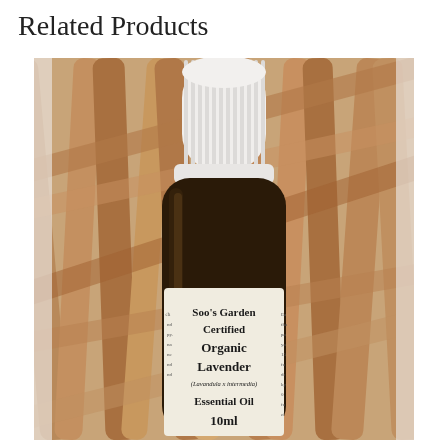Related Products
[Figure (photo): A small amber glass bottle with a white child-resistant dropper cap, labeled 'Soo's Garden Certified Organic Lavender (Lavandula x intermedia) Essential Oil 10ml', photographed against a background of blurred natural wooden sticks/twigs.]